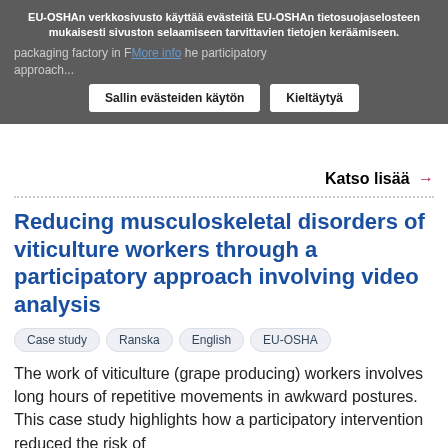EU-OSHAn verkkosivusto käyttää evästeitä EU-OSHAn tietosuojaselosteen mukaisesti sivuston selaamiseen tarvittavien tietojen keräämiseen.
packaging factory in F... The participatory approach...
More info | Sallin evästeiden käytön | Kieltäytyä
Katso lisää →
Reducing musculoskeletal disorders of viticulture workers through a participatory approach involving video analysis
Case study
Ranska
English
EU-OSHA
The work of viticulture (grape producing) workers involves long hours of repetitive movements in awkward postures. This case study highlights how a participatory intervention reduced the risk of